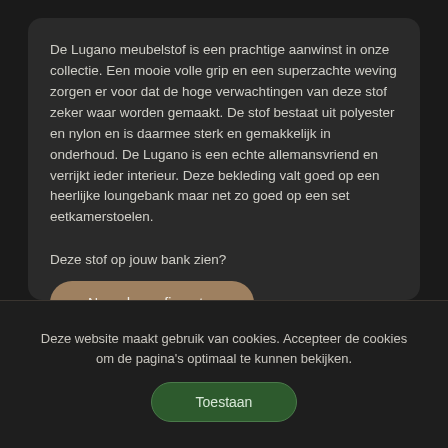De Lugano meubelstof is een prachtige aanwinst in onze collectie. Een mooie volle grip en een superzachte weving zorgen er voor dat de hoge verwachtingen van deze stof zeker waar worden gemaakt. De stof bestaat uit polyester en nylon en is daarmee sterk en gemakkelijk in onderhoud. De Lugano is een echte allemansvriend en verrijkt ieder interieur. Deze bekleding valt goed op een heerlijke loungebank maar net zo goed op een set eetkamerstoelen.
Deze stof op jouw bank zien?
Naar de configurator
Deze website maakt gebruik van cookies. Accepteer de cookies om de pagina's optimaal te kunnen bekijken.
Toestaan